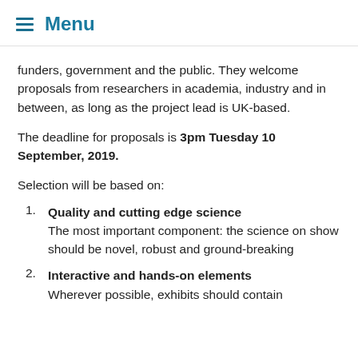Menu
funders, government and the public. They welcome proposals from researchers in academia, industry and in between, as long as the project lead is UK-based.
The deadline for proposals is 3pm Tuesday 10 September, 2019.
Selection will be based on:
1. Quality and cutting edge science — The most important component: the science on show should be novel, robust and ground-breaking
2. Interactive and hands-on elements — Wherever possible, exhibits should contain